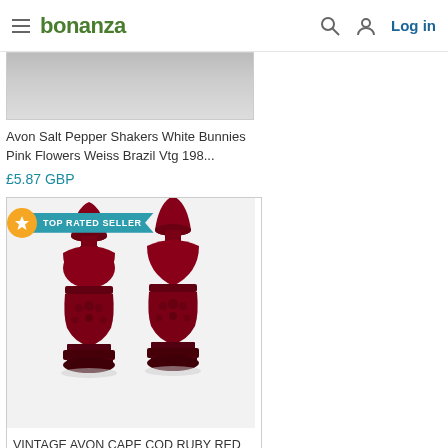bonanza — Log in
[Figure (photo): Partially visible product image at top of page (Avon Salt Pepper Shakers White Bunnies)]
Avon Salt Pepper Shakers White Bunnies Pink Flowers Weiss Brazil Vtg 198...
£5.87 GBP
[Figure (photo): Photo of Vintage Avon Cape Cod Ruby Red Salt Pepper Shakers with TOP RATED SELLER badge]
VINTAGE AVON CAPE COD RUBY RED SALT PEPPER SHAKERS-FILLED W/COLOGNE-HOL...